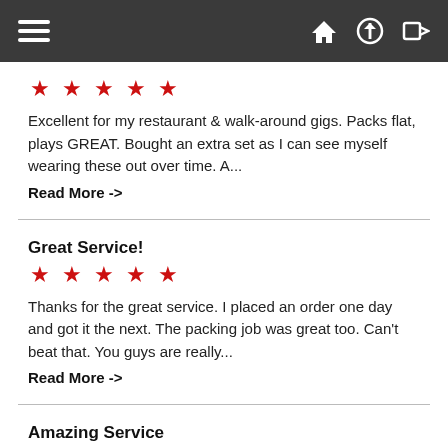Navigation bar with hamburger menu, home, upload, and login icons
★★★★★
Excellent for my restaurant & walk-around gigs. Packs flat, plays GREAT. Bought an extra set as I can see myself wearing these out over time. A...
Read More ->
Great Service!
★★★★★
Thanks for the great service. I placed an order one day and got it the next. The packing job was great too. Can't beat that. You guys are really...
Read More ->
Amazing Service
★★★★★
I have used a few different websites for various magic. I always